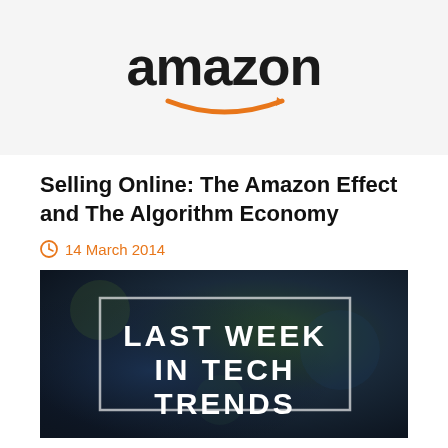[Figure (logo): Amazon logo with black text and orange arrow/smile underneath]
Selling Online: The Amazon Effect and The Algorithm Economy
14 March 2014
[Figure (photo): Dark blue/green blurred background with white text reading 'LAST WEEK IN TECH TRENDS' inside a white-bordered rectangle]